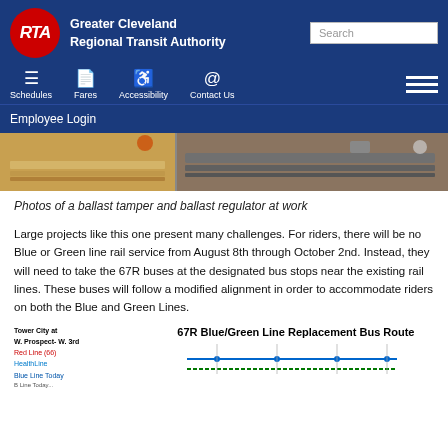Greater Cleveland Regional Transit Authority
[Figure (photo): Photos of a ballast tamper and ballast regulator at work — construction/track maintenance equipment on rail tracks]
Photos of a ballast tamper and ballast regulator at work
Large projects like this one present many challenges. For riders, there will be no Blue or Green line rail service from August 8th through October 2nd. Instead, they will need to take the 67R buses at the designated bus stops near the existing rail lines. These buses will follow a modified alignment in order to accommodate riders on both the Blue and Green Lines.
[Figure (map): 67R Blue/Green Line Replacement Bus Route map showing Tower City at W. Prospect-W. 3rd, Red Line, HealthLine, Blue Line Today stops]